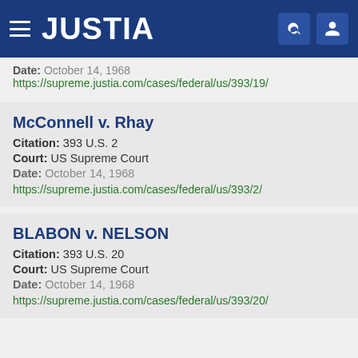JUSTIA
Date: October 14, 1968
https://supreme.justia.com/cases/federal/us/393/19/
McConnell v. Rhay
Citation: 393 U.S. 2
Court: US Supreme Court
Date: October 14, 1968
https://supreme.justia.com/cases/federal/us/393/2/
BLABON v. NELSON
Citation: 393 U.S. 20
Court: US Supreme Court
Date: October 14, 1968
https://supreme.justia.com/cases/federal/us/393/20/